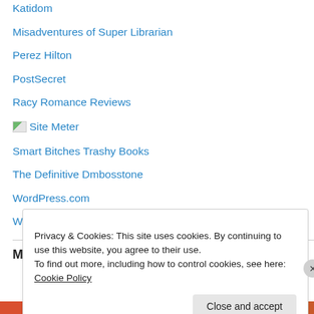Katidom
Misadventures of Super Librarian
Perez Hilton
PostSecret
Racy Romance Reviews
Site Meter
Smart Bitches Trashy Books
The Definitive Dmbosstone
WordPress.com
WordPress.org
Meta
Privacy & Cookies: This site uses cookies. By continuing to use this website, you agree to their use.
To find out more, including how to control cookies, see here: Cookie Policy
Close and accept